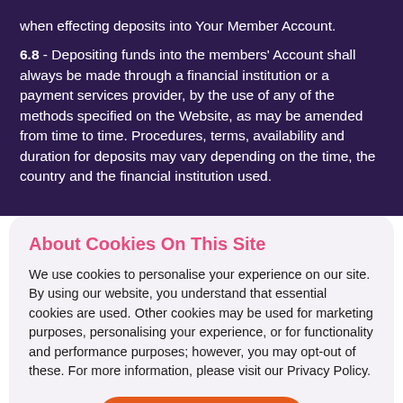when effecting deposits into Your Member Account.
6.8 - Depositing funds into the members' Account shall always be made through a financial institution or a payment services provider, by the use of any of the methods specified on the Website, as may be amended from time to time. Procedures, terms, availability and duration for deposits may vary depending on the time, the country and the financial institution used.
About Cookies On This Site
We use cookies to personalise your experience on our site. By using our website, you understand that essential cookies are used. Other cookies may be used for marketing purposes, personalising your experience, or for functionality and performance purposes; however, you may opt-out of these. For more information, please visit our Privacy Policy.